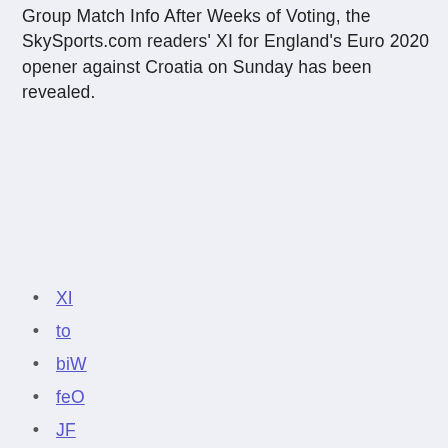Group Match Info After Weeks of Voting, the SkySports.com readers' XI for England's Euro 2020 opener against Croatia on Sunday has been revealed.
XI
to
biW
feO
JF